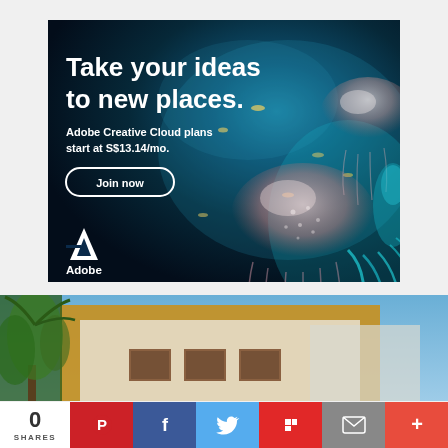[Figure (illustration): Adobe Creative Cloud advertisement banner with dark underwater/ocean background featuring glowing jellyfish, bold white headline text 'Take your ideas to new places.', subtext 'Adobe Creative Cloud plans start at S$13.14/mo.', a 'Join now' button, and the Adobe logo at bottom left.]
[Figure (photo): Photograph of a modern building exterior with yellow/orange architectural frame, blue sky, and a tree on the left side.]
0
SHARES